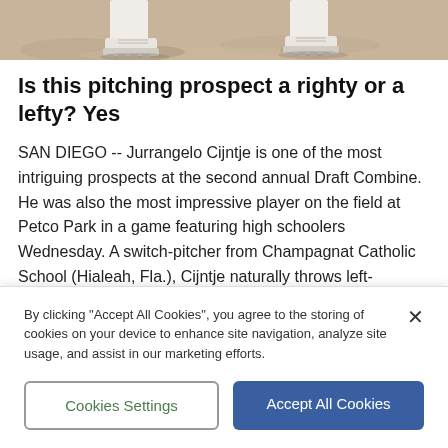[Figure (photo): Cropped photo showing feet and legs of a baseball pitcher on a dirt mound, wearing white baseball cleats, partial view from below the knees.]
Is this pitching prospect a righty or a lefty? Yes
SAN DIEGO -- Jurrangelo Cijntje is one of the most intriguing prospects at the second annual Draft Combine. He was also the most impressive player on the field at Petco Park in a game featuring high schoolers Wednesday. A switch-pitcher from Champagnat Catholic School (Hialeah, Fla.), Cijntje naturally throws left-handed,...
By clicking “Accept All Cookies”, you agree to the storing of cookies on your device to enhance site navigation, analyze site usage, and assist in our marketing efforts.